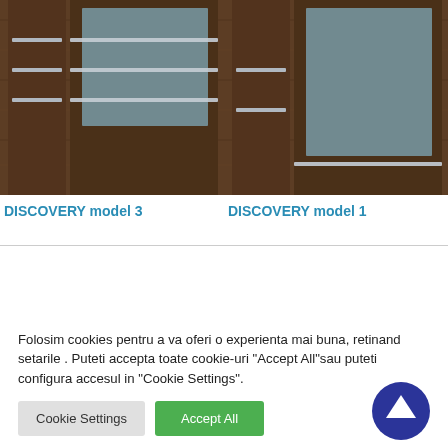[Figure (photo): Two interior door products side by side. Left: DISCOVERY model 3 - dark wood door with frosted glass panel and horizontal metal bar accents. Right: DISCOVERY model 1 - similar dark wood door with frosted glass panel and fewer horizontal bars.]
DISCOVERY model 3
DISCOVERY model 1
Folosim cookies pentru a va oferi o experienta mai buna, retinand setarile . Puteti accepta toate cookie-uri "Accept All"sau puteti configura accesul in "Cookie Settings".